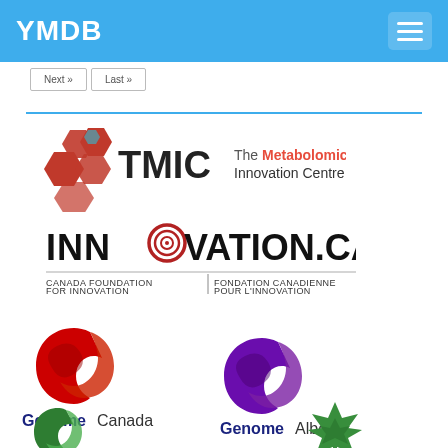YMDB
[Figure (logo): TMIC – The Metabolomics Innovation Centre logo with red hexagonal icons]
[Figure (logo): INNOVATION.CA – Canada Foundation for Innovation / Fondation Canadienne Pour L'Innovation logo]
[Figure (logo): Genome Canada logo (red swirl)]
[Figure (logo): Genome Alberta logo (purple swirl)]
[Figure (logo): Partial logo (green swirl, bottom left)]
[Figure (logo): Partial logo (green maple leaf design, bottom right)]